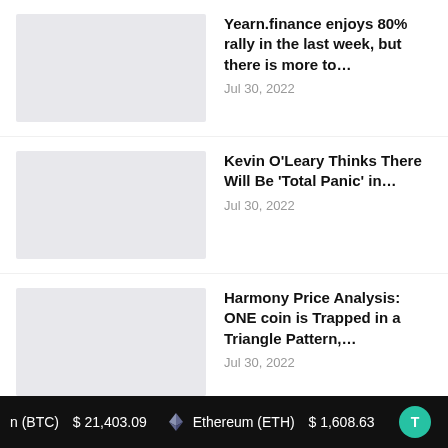Yearn.finance enjoys 80% rally in the last week, but there is more to…
Jul 30, 2022
Kevin O'Leary Thinks There Will Be 'Total Panic' in…
Jul 30, 2022
Harmony Price Analysis: ONE coin is Trapped in a Triangle Pattern,…
Jul 30, 2022
This Week in Coins: Bitcoin and Ethereum See Continued Growth as Merge…
Jul 30, 2022
Fidelity's Bitcoin Move Is Getting All the Wrong Publicity
n (BTC)   $ 21,403.09        Ethereum (ETH)   $ 1,608.63